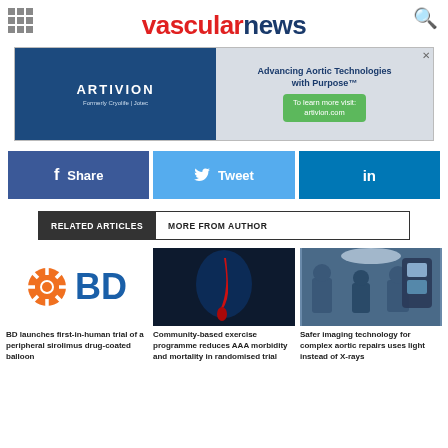[Figure (logo): vascularNews website header with grid icon, red and navy logo, search icon]
[Figure (infographic): Artivion advertisement banner: 'Advancing Aortic Technologies with Purpose. To learn more visit: artivion.com']
[Figure (infographic): Social share buttons: Facebook Share, Twitter Tweet, LinkedIn]
RELATED ARTICLES | MORE FROM AUTHOR
[Figure (logo): BD (Becton Dickinson) company logo with orange sunburst icon]
BD launches first-in-human trial of a peripheral sirolimus drug-coated balloon
[Figure (photo): Medical illustration of aortic aneurysm on dark background]
Community-based exercise programme reduces AAA morbidity and mortality in randomised trial
[Figure (photo): Surgical team performing complex aortic repair procedure]
Safer imaging technology for complex aortic repairs uses light instead of X-rays